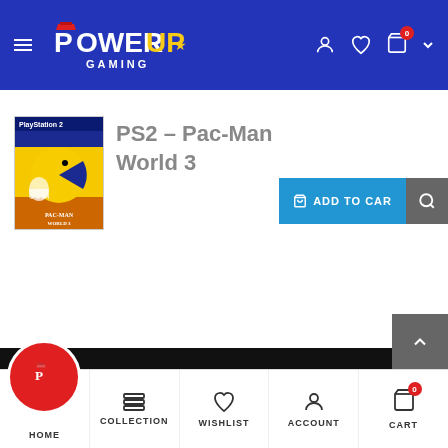PowerUp Gaming - navigation header with hamburger menu, logo, account, wishlist, cart (0) icons
PS2 - Pac-Man World 3
[Figure (photo): Pac-Man World 3 PS2 game box art thumbnail with yellow pac-man character]
ADD TO CART
Newsletter
Email Address
Subscribe
HOME | COLLECTION | WISHLIST | ACCOUNT | CART